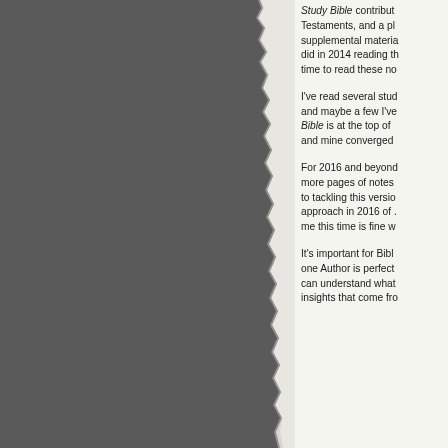[Figure (photo): Dark gray background image showing a torn or ragged paper edge effect on the left side of the page]
Study Bible contributors for both Testaments, and a plethora of supplemental material. What I did in 2014 reading through, this time to read these no
I've read several study bibles and maybe a few I've Bible is at the top of and mine converged
For 2016 and beyond more pages of notes to tackling this version approach in 2016 of me this time is fine w
It's important for Bibl one Author is perfect can understand what insights that come fro